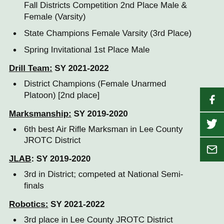Fall Districts Competition 2nd Place Male & Female (Varsity)
State Champions Female Varsity (3rd Place)
Spring Invitational 1st Place Male
Drill Team: SY 2021-2022
District Champions (Female Unarmed Platoon) [2nd place]
Marksmanship: SY 2019-2020
6th best Air Rifle Marksman in Lee County JROTC District
JLAB: SY 2019-2020
3rd in District; competed at National Semi-finals
Robotics: SY 2021-2022
3rd place in Lee County JROTC District Competition